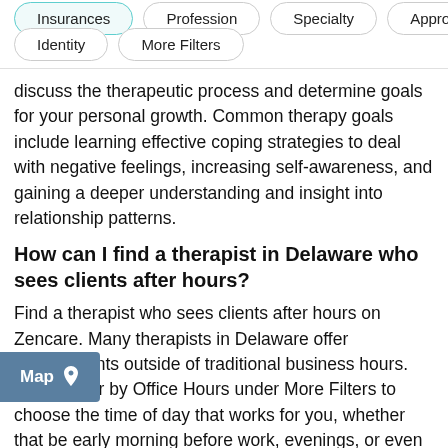Insurances
Profession
Specialty
Approach
Identity
More Filters
discuss the therapeutic process and determine goals for your personal growth. Common therapy goals include learning effective coping strategies to deal with negative feelings, increasing self-awareness, and gaining a deeper understanding and insight into relationship patterns.
How can I find a therapist in Delaware who sees clients after hours?
Find a therapist who sees clients after hours on Zencare. Many therapists in Delaware offer appointments outside of traditional business hours. Simply filter by Office Hours under More Filters to choose the time of day that works for you, whether that be early morning before work, evenings, or even over the weekend. After hours